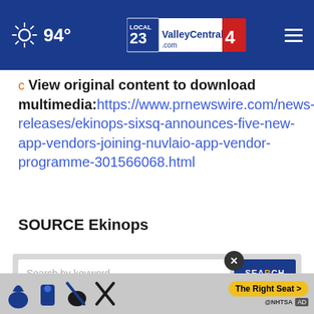94° ValleyCentral.com
c View original content to download multimedia:https://www.prnewswire.com/news-releases/ekinops-sixsq-announces-five-new-app-vendors-joining-nuvlaio-app-vendor-programme-301566068.html
SOURCE Ekinops
[Figure (screenshot): Search bar with keyword input field and SEARCH button, with a close (X) button overlay]
[Figure (screenshot): Advertisement banner: NHTSA The Right Seat ad with car seat safety icons on a light background]